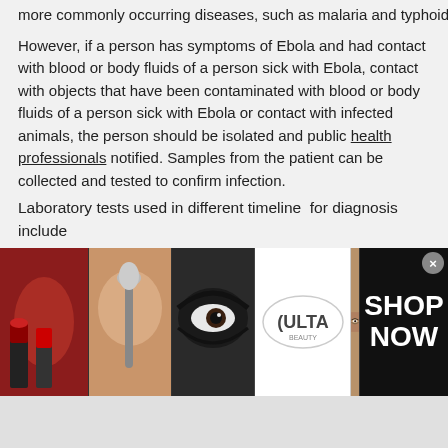more commonly occurring diseases, such as malaria and typhoid fever.
However, if a person has symptoms of Ebola and had contact with blood or body fluids of a person sick with Ebola, contact with objects that have been contaminated with blood or body fluids of a person sick with Ebola or contact with infected animals, the person should be isolated and public health professionals notified. Samples from the patient can be collected and tested to confirm infection.
Laboratory tests used in different timeline  for diagnosis include
Within a few days after symptoms begin
Antigen-capture enzyme-linked immunosorbent assay (ELISA)
IgM ELISA
Polymerase chain reaction (PCR)
Virus isolation
Later in disease course or after recovery
IgM and IgG antibodies
[Figure (photo): Advertisement banner for ULTA Beauty showing cosmetic images and 'SHOP NOW' call to action]